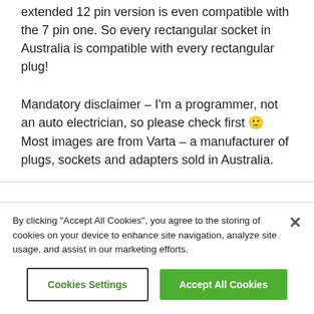extended 12 pin version is even compatible with the 7 pin one. So every rectangular socket in Australia is compatible with every rectangular plug!
Mandatory disclaimer – I'm a programmer, not an auto electrician, so please check first 🙂 Most images are from Varta – a manufacturer of plugs, sockets and adapters sold in Australia.
By clicking "Accept All Cookies", you agree to the storing of cookies on your device to enhance site navigation, analyze site usage, and assist in our marketing efforts.
Cookies Settings
Accept All Cookies